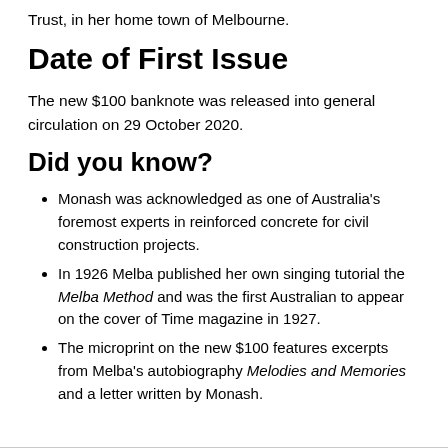Trust, in her home town of Melbourne.
Date of First Issue
The new $100 banknote was released into general circulation on 29 October 2020.
Did you know?
Monash was acknowledged as one of Australia's foremost experts in reinforced concrete for civil construction projects.
In 1926 Melba published her own singing tutorial the Melba Method and was the first Australian to appear on the cover of Time magazine in 1927.
The microprint on the new $100 features excerpts from Melba's autobiography Melodies and Memories and a letter written by Monash.